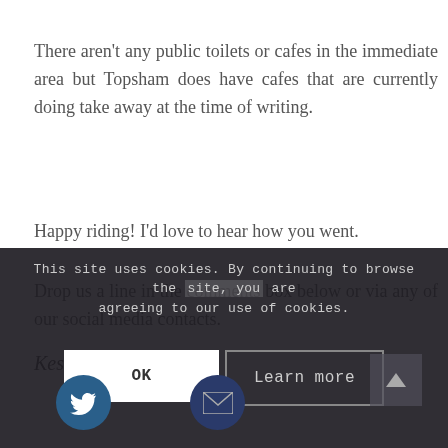There aren't any public toilets or cafes in the immediate area but Topsham does have cafes that are currently doing take away at the time of writing.
Happy riding! I'd love to hear how you went.
Drop us a line in the comments box below or via any of our social media contacts.
Kes
This site uses cookies. By continuing to browse the site, you are agreeing to our use of cookies.
OK
Learn more